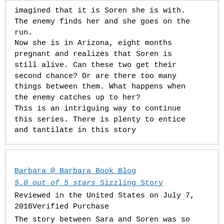imagined that it is Soren she is with. The enemy finds her and she goes on the run.
Now she is in Arizona, eight months pregnant and realizes that Soren is still alive. Can these two get their second chance? Or are there too many things between them. What happens when the enemy catches up to her?
This is an intriguing way to continue this series. There is plenty to entice and tantilate in this story
Barbara @ Barbara Book Blog
5.0 out of 5 stars Sizzling Story
Reviewed in the United States on July 7, 2016Verified Purchase
The story between Sara and Soren was so